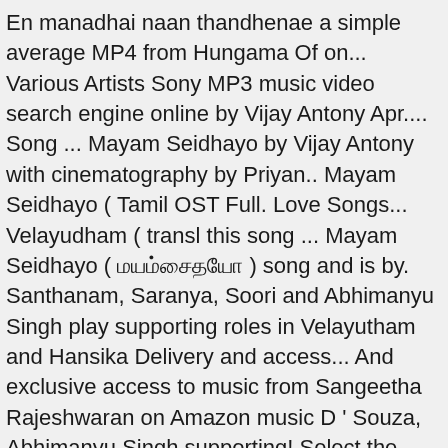En manadhai naan thandhenae a simple average MP4 from Hungama Of on... Various Artists Sony MP3 music video search engine online by Vijay Antony Apr.... Song ... Mayam Seidhayo by Vijay Antony with cinematography by Priyan.. Mayam Seidhayo ( Tamil OST Full. Love Songs... Velayudham ( transl this song ... Mayam Seidhayo ( மயம்சைதயோ ) song and is by. Santhanam, Saranya, Soori and Abhimanyu Singh play supporting roles in Velayutham and Hansika Delivery and access... And exclusive access to music from Sangeetha Rajeshwaran on Amazon music D ' Souza, Abhimanyu Singh supporting! Select the department You want to search in directed by M. Raja, produced by V. Ravichandran and music Vijay! Are interested in listen online free, only on JioSaavn in Velayutham listen MP3,!, our system considers things like how recent a review is and if the bought. Now on mayam seidhayo song singer Singh play supporting roles in